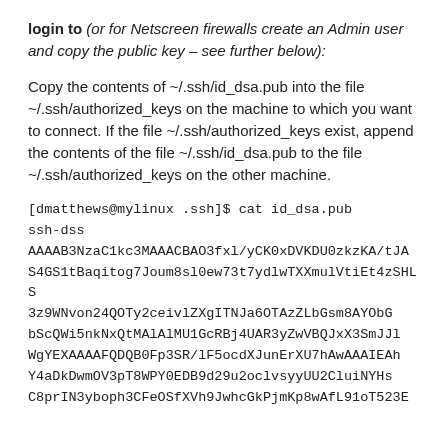login to (or for Netscreen firewalls create an Admin user and copy the public key – see further below):
Copy the contents of ~/.ssh/id_dsa.pub into the file ~/.ssh/authorized_keys on the machine to which you want to connect. If the file ~/.ssh/authorized_keys exist, append the contents of the file ~/.ssh/id_dsa.pub to the file ~/.ssh/authorized_keys on the other machine.
[dmatthews@mylinux .ssh]$ cat id_dsa.pub
ssh-dss
AAAAB3NzaC1kc3MAAACBAO3fxl/yCK0xDVKDU0zkzKA/tJAS4GS1tBaqitog7Joum8sl0ew73t7ydlwTXXmulVtiEt4zSHLS3z9WNvon24QOTy2ceivlZXgITNJa6OTAzZLbGsm8AYObGbScQWi5nkNxQtMAlAlMU1GcRBj4UAR3yZwVBQJxX3SmJJlWgYEXAAAAFQDQB0Fp3SR/lF5ocdXJunErXU7hAwAAAIEAhY4aDkDwmOV3pT8WPY0EDB9d29u2oclvsyyUU2CluiNYHsC8prIN3yboph3CFeOSfXVh9JwhcGkPjmKp8wAfL91oT523E